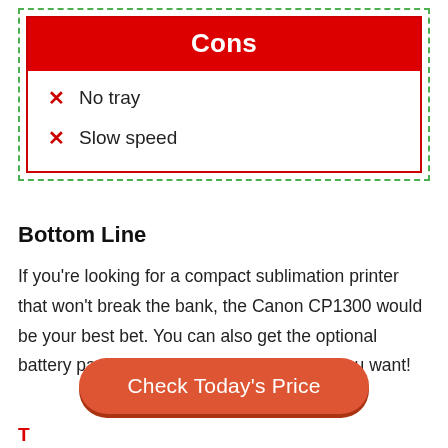Cons
No tray
Slow speed
Bottom Line
If you're looking for a compact sublimation printer that won't break the bank, the Canon CP1300 would be your best bet. You can also get the optional battery pack and print virtually anywhere you want!
Check Today's Price